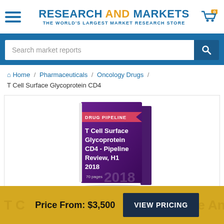RESEARCH AND MARKETS – THE WORLD'S LARGEST MARKET RESEARCH STORE
Search market reports
Home / Pharmaceuticals / Oncology Drugs / T Cell Surface Glycoprotein CD4
[Figure (illustration): Book cover illustration: purple book titled 'T Cell Surface Glycoprotein CD4 - Pipeline Review, H1 2018', labeled 'DRUG PIPELINE', 70 pages, 2018]
Price From: $3,500
VIEW PRICING